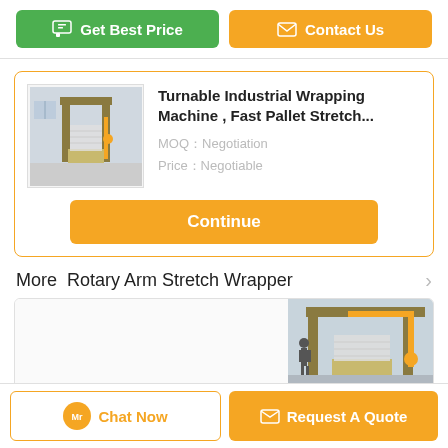Get Best Price
Contact Us
Turnable Industrial Wrapping Machine , Fast Pallet Stretch...
MOQ：Negotiation
Price：Negotiable
Continue
More  Rotary Arm Stretch Wrapper
30 Pallets/H Rotary Arm Stretch Wrapper
Chat Now
Request A Quote